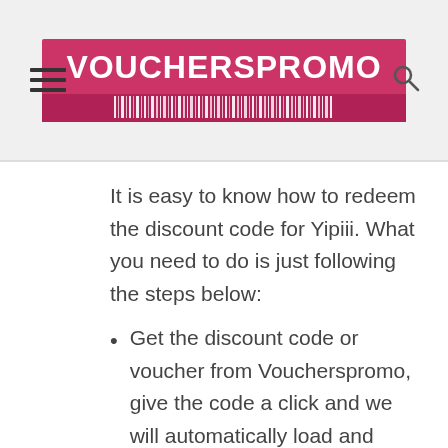[Figure (logo): VouchersPromo logo — pink/red background with white bold text 'VOUCHERSPROMO' and a barcode strip below]
It is easy to know how to redeem the discount code for Yipiii. What you need to do is just following the steps below:
Get the discount code or voucher from Voucherspromo, give the code a click and we will automatically load and activate the deal for you.